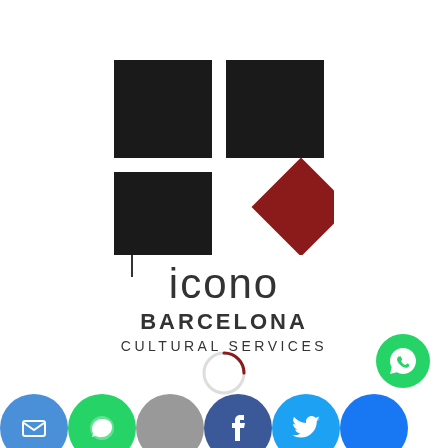[Figure (logo): Icono Barcelona Cultural Services logo consisting of four squares arranged in a 2x2 grid where the bottom-right square is rotated 45 degrees and colored dark red, with the text 'icono' below in thin sans-serif, followed by 'BARCELONA' in bold and 'CULTURAL SERVICES' in spaced capitals]
[Figure (other): Loading spinner arc in dark red, partially visible]
[Figure (other): Green WhatsApp button circle with WhatsApp phone icon]
[Figure (other): Social media icon bar at bottom with colored circular icons for various platforms]